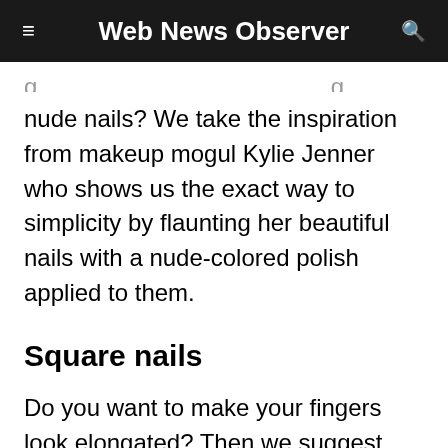Web News Observer
nude nails? We take the inspiration from makeup mogul Kylie Jenner who shows us the exact way to simplicity by flaunting her beautiful nails with a nude-colored polish applied to them.
Square nails
Do you want to make your fingers look elongated? Then we suggest you opt for clean, square-shaped nails with a touch of transparent polish to fulfill your dream. Not only do they make your fingers feel elongated but also give a beautiful glossy look.